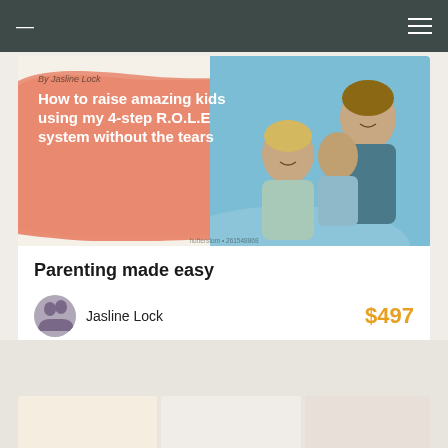— ≡
[Figure (photo): Book cover showing happy family (man, woman, and two children) against blue sky, with orange brush stroke background and title text 'How to raise amazing kids using my 4-step R.O.L.E system without the tears' by Jasline Lock]
Parenting made easy
Jasline Lock  $497